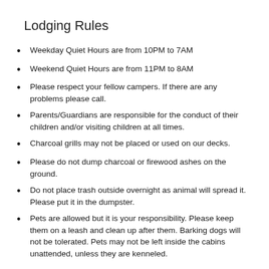Lodging Rules
Weekday Quiet Hours are from 10PM to 7AM
Weekend Quiet Hours are from 11PM to 8AM
Please respect your fellow campers.  If there are any problems please call.
Parents/Guardians are responsible for the conduct of their children and/or visiting children at all times.
Charcoal grills may not be placed or used on our decks.
Please do not dump charcoal or firewood ashes on the ground.
Do not place trash outside overnight as animal will spread it.  Please put it in the dumpster.
Pets are allowed but it is your responsibility. Please keep them on a leash and clean up after them.  Barking dogs will not be tolerated.  Pets may not be left inside the cabins unattended, unless they are kenneled.